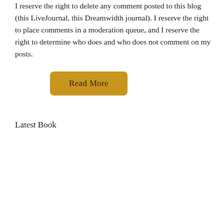I reserve the right to delete any comment posted to this blog (this LiveJournal, this Dreamwidth journal). I reserve the right to place comments in a moderation queue, and I reserve the right to determine who does and who does not comment on my posts.
Read More
Latest Book